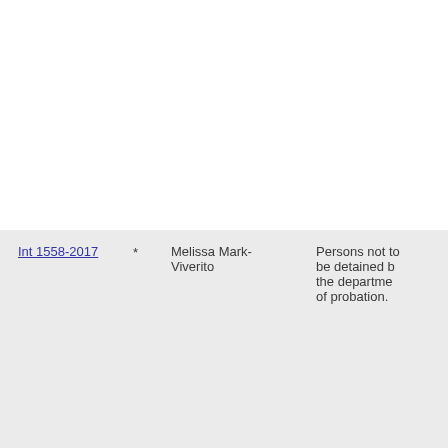| Bill |  | Sponsor | Summary |
| --- | --- | --- | --- |
| Int 1558-2017 | * | Melissa Mark-Viverito | Persons not to be detained b the departme of probation. |